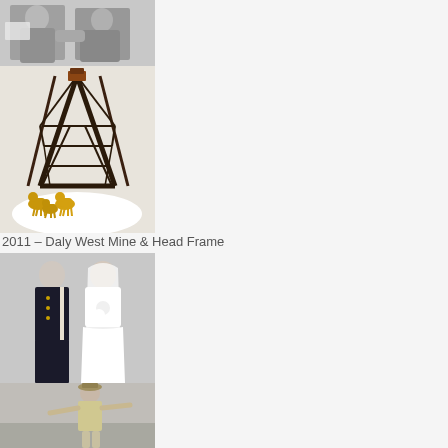[Figure (photo): Black and white photo of two men, one holding papers, cropped at top of page]
[Figure (photo): Color photo of a model/figurine of Daly West Mine head frame with golden deer figurines at base]
2011 – Daly West Mine & Head Frame
[Figure (photo): Black and white wedding photo of a couple, man in military uniform, woman in wedding dress holding bouquet]
[Figure (photo): Black and white photo of a woman in uniform or costume, partially cropped at bottom]